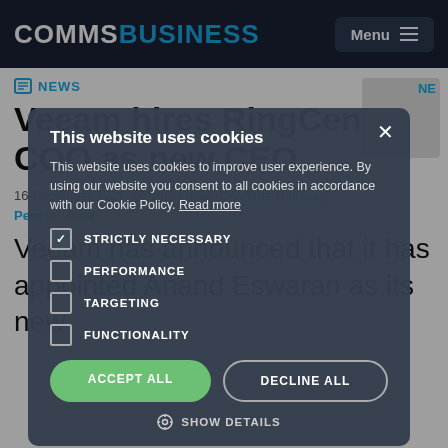COMMSBUSINESS — Menu
NEWS
Veeam hires RingCentral COO as new CEO
16 December 2021  1 min read  Charlotte Hathway
People  Data
[Figure (screenshot): Cookie consent dialog overlay on CommsBusiness website. Title: 'This website uses cookies'. Body text: 'This website uses cookies to improve user experience. By using our website you consent to all cookies in accordance with our Cookie Policy. Read more'. Options: STRICTLY NECESSARY (checked), PERFORMANCE (unchecked), TARGETING (unchecked), FUNCTIONALITY (unchecked). Buttons: ACCEPT ALL (green), DECLINE ALL (outline). Show Details link at bottom.]
Veeam has announced that it has appointed Anand Eswaran as its new